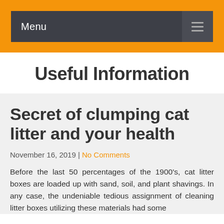Menu
Useful Information
Secret of clumping cat litter and your health
November 16, 2019 | No Comments
Before the last 50 percentages of the 1900's, cat litter boxes are loaded up with sand, soil, and plant shavings. In any case, the undeniable tedious assignment of cleaning litter boxes utilizing these materials had some…